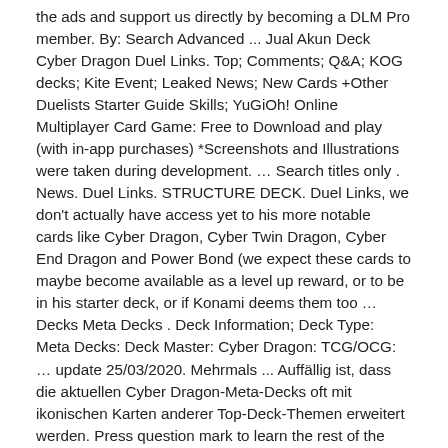the ads and support us directly by becoming a DLM Pro member. By: Search Advanced ... Jual Akun Deck Cyber Dragon Duel Links. Top; Comments; Q&A; KOG decks; Kite Event; Leaked News; New Cards +Other Duelists Starter Guide Skills; YuGiOh! Online Multiplayer Card Game: Free to Download and play (with in-app purchases) *Screenshots and Illustrations were taken during development. … Search titles only . News. Duel Links. STRUCTURE DECK. Duel Links, we don't actually have access yet to his more notable cards like Cyber Dragon, Cyber Twin Dragon, Cyber End Dragon and Power Bond (we expect these cards to maybe become available as a level up reward, or to be in his starter deck, or if Konami deems them too … Decks Meta Decks . Deck Information; Deck Type: Meta Decks: Deck Master: Cyber Dragon: TCG/OCG: … update 25/03/2020. Mehrmals ... Auffällig ist, dass die aktuellen Cyber Dragon-Meta-Decks oft mit ikonischen Karten anderer Top-Deck-Themen erweitert werden. Press question mark to learn the rest of the keyboard shortcuts. Cyber Dragon | Decks and Tips. This archetype is boosted up in the 21st main box: Cybernetic Rebellion then we get stronger support in the latest main box: Future Horizon. April 9, 2019 Crimsongamer 40,640 0 Comments Cyber. User account menu. Quickly, it became very clear that Cyber Angels were way ahead of their time and Konami was fast to nerf them. Each Structure Deck R also features